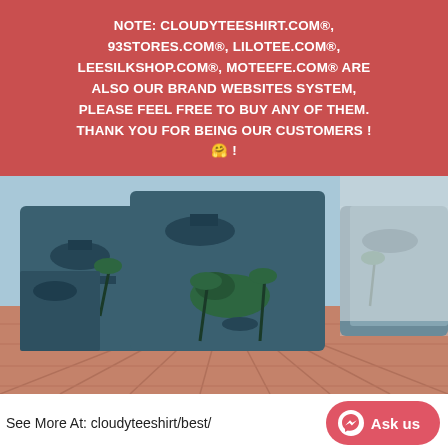NOTE: CLOUDYTEESHIRT.COM®, 93STORES.COM®, LILOTEE.COM®, LEESILKSHOP.COM®, MOTEEFE.COM® ARE ALSO OUR BRAND WEBSITES SYSTEM, PLEASE FEEL FREE TO BUY ANY OF THEM. THANK YOU FOR BEING OUR CUSTOMERS ! 🤗 !
[Figure (photo): Product photo of Hawaiian shirts with military ship and tropical palm tree design, displayed on a wooden deck surface with beach background]
See More At: cloudyteeshirt/best/
67. BEST Belgian Air Force Airbus